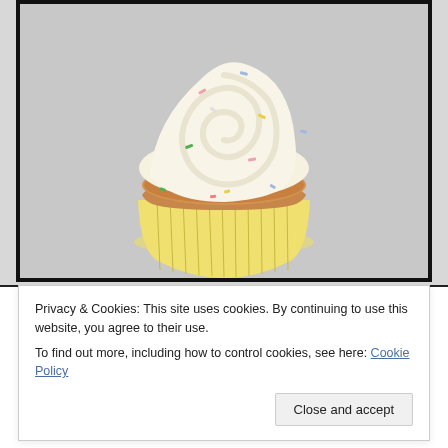[Figure (photo): A vanilla cupcake with swirled white frosting and colorful sprinkles, in a yellow paper liner, on a light gray background.]
Privacy & Cookies: This site uses cookies. By continuing to use this website, you agree to their use.
To find out more, including how to control cookies, see here: Cookie Policy
Close and accept
again and again. Mom agrees too!